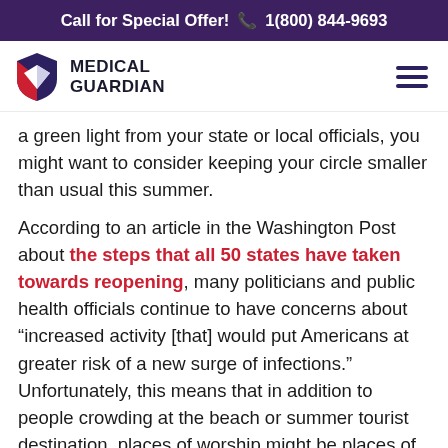Call for Special Offer!  1(800) 844-9693
[Figure (logo): Medical Guardian logo with shield icon and text MEDICAL GUARDIAN]
a green light from your state or local officials, you might want to consider keeping your circle smaller than usual this summer.
According to an article in the Washington Post about the steps that all 50 states have taken towards reopening, many politicians and public health officials continue to have concerns about "increased activity [that] would put Americans at greater risk of a new surge of infections." Unfortunately, this means that in addition to people crowding at the beach or summer tourist destination, places of worship might be places of greater risk during this time. While this might be hard for